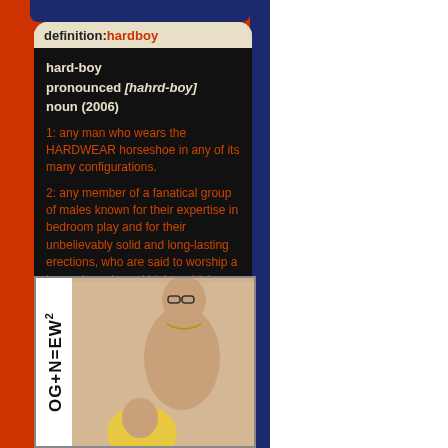definition:hardboy
hard-boy
pronounced [hahrd-boy]
noun (2006)
1: any man who wears the HARDWEAR horseshoe in any of its many configurations.
2: any member of a fanatical group of males known for their expertise in bedroom play and for their unbelievably solid and long-lasting erections, who are said to worship a horseshoe shaped idol to which they attribute their amazing sexual powers.
[Figure (photo): Photo of a shirtless muscular man with glasses and a necklace, with a blonde woman below him. Text reads OG+N=EW2 vertically on the left side.]